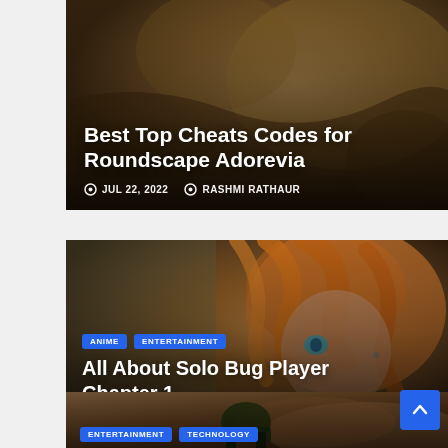[Figure (photo): Article card with dark brownish background image for Roundscape Adorevia cheats article]
Best Top Cheats Codes for Roundscape Adorevia
JUL 22, 2022   RASHMI RATHAUR
[Figure (photo): Article card showing anime character with orange hair and blue eyes for Solo Bug Player Chapter 1, with ANIME and ENTERTAINMENT tags]
ANIME   ENTERTAINMENT
All About Solo Bug Player Chapter 1
JUL 21, 2022   KISHORE P
[Figure (photo): Partial article card showing motocross/dirt bike racing with ENTERTAINMENT and TECHNOLOGY tags]